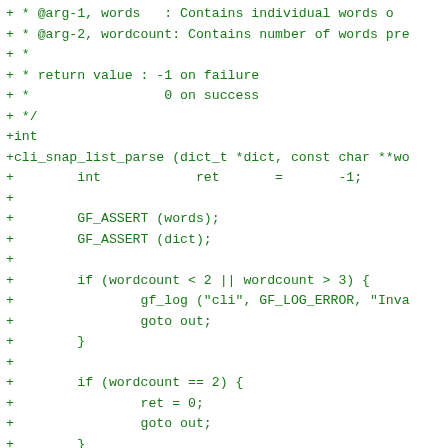[Figure (other): Source code diff snippet in green monospace font showing C function cli_snap_list_parse with comments about arguments and return values, variable declarations, assertions, conditional checks, and dict operations.]